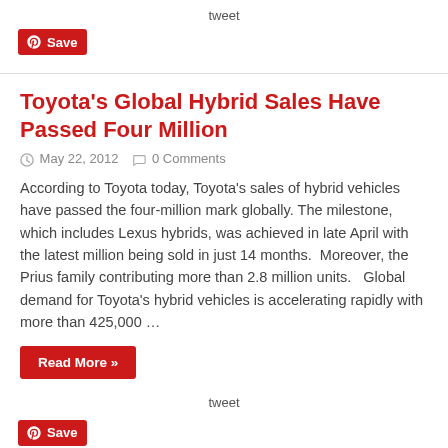tweet
[Figure (logo): Pinterest Save button (red rounded rectangle with Pinterest logo icon and text 'Save')]
Toyota's Global Hybrid Sales Have Passed Four Million
May 22, 2012   0 Comments
According to Toyota today, Toyota's sales of hybrid vehicles have passed the four-million mark globally. The milestone, which includes Lexus hybrids, was achieved in late April with the latest million being sold in just 14 months.  Moreover, the Prius family contributing more than 2.8 million units.   Global demand for Toyota's hybrid vehicles is accelerating rapidly with more than 425,000 …
Read More »
tweet
[Figure (logo): Pinterest Save button (red rounded rectangle with Pinterest logo icon and text 'Save')]